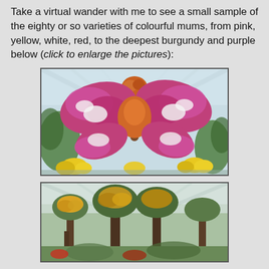Take a virtual wander with me to see a small sample of the eighty or so varieties of colourful mums, from pink, yellow, white, red, to the deepest burgundy and purple below (click to enlarge the pictures):
[Figure (photo): A large butterfly-shaped floral sculpture made of pink, white, orange, and yellow chrysanthemums displayed inside a greenhouse with a glass roof.]
[Figure (photo): Interior of a greenhouse showing large trees with yellow and orange chrysanthemum arrangements, with green foliage and glass roof visible.]